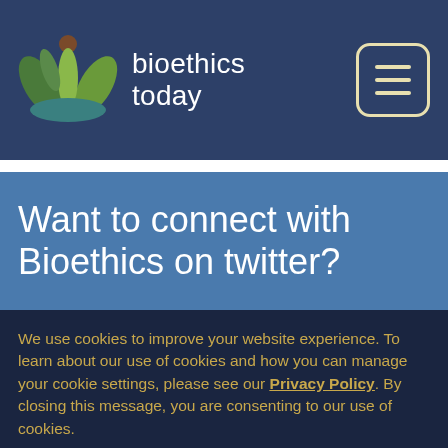[Figure (logo): Bioethics Today logo with stylized plant/leaf illustration in green, teal, and brown colors on dark blue background, with text 'bioethics today']
Want to connect with Bioethics on twitter?
We use cookies to improve your website experience. To learn about our use of cookies and how you can manage your cookie settings, please see our Privacy Policy. By closing this message, you are consenting to our use of cookies.